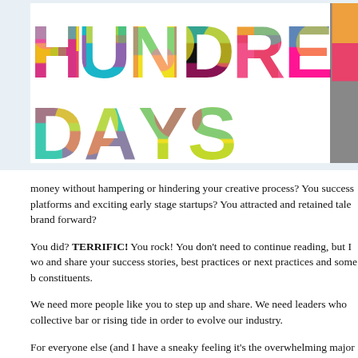[Figure (illustration): Large colorful typographic title 'HUNDRED DAYS' with psychedelic tie-dye style letters in pink, green, yellow, teal, and magenta colors on white background]
money without hampering or hindering your creative process? You success platforms and exciting early stage startups? You attracted and retained tale brand forward?
You did? TERRIFIC! You rock! You don't need to continue reading, but I wo and share your success stories, best practices or next practices and some b constituents.
We need more people like you to step up and share. We need leaders who collective bar or rising tide in order to evolve our industry.
For everyone else (and I have a sneaky feeling it's the overwhelming major news. They're actually both the same: everyone else is in the same boat. S either. That's either exceptionally frightening or empowering depending on h